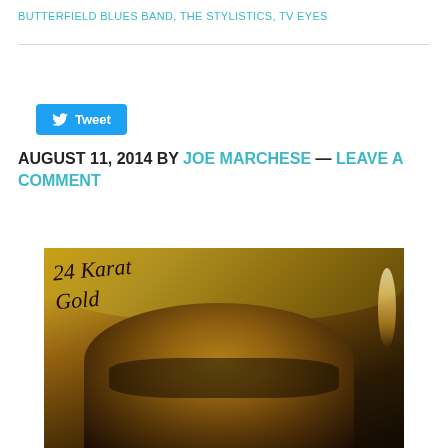BUTTERFIELD BLUES BAND, THE STYLISTICS, TV EYES
Tweet
AUGUST 11, 2014 BY JOE MARCHESE — LEAVE A COMMENT
[Figure (photo): Album cover for '24 Karat Gold' — a warm golden-toned image showing a woman wearing a wide-brimmed hat, with handwritten script text reading '24 Karat Gold' in the upper left corner. The image has a dark, moody, amber/sepia color palette.]